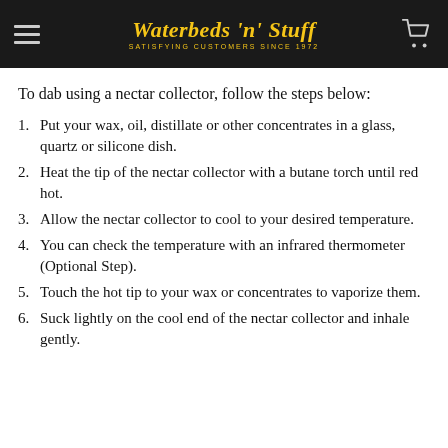Waterbeds 'n' Stuff — SATISFYING CUSTOMERS SINCE 1972
To dab using a nectar collector, follow the steps below:
Put your wax, oil, distillate or other concentrates in a glass, quartz or silicone dish.
Heat the tip of the nectar collector with a butane torch until red hot.
Allow the nectar collector to cool to your desired temperature.
You can check the temperature with an infrared thermometer (Optional Step).
Touch the hot tip to your wax or concentrates to vaporize them.
Suck lightly on the cool end of the nectar collector and inhale gently.